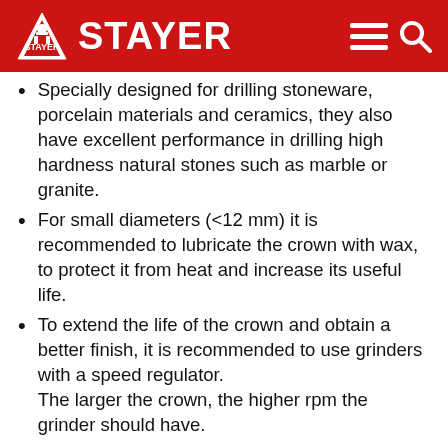STAYER
Specially designed for drilling stoneware, porcelain materials and ceramics, they also have excellent performance in drilling high hardness natural stones such as marble or granite.
For small diameters (<12 mm) it is recommended to lubricate the crown with wax, to protect it from heat and increase its useful life.
To extend the life of the crown and obtain a better finish, it is recommended to use grinders with a speed regulator. The larger the crown, the higher rpm the grinder should have.
To drill, it is recommended to start with an attack angle of 30°-45° and carry out oscillating movements to make the most of the bit and reduce localized wear and overheating.
Once the drilling is finished, the grinder must be stopped without removing it from the hole and